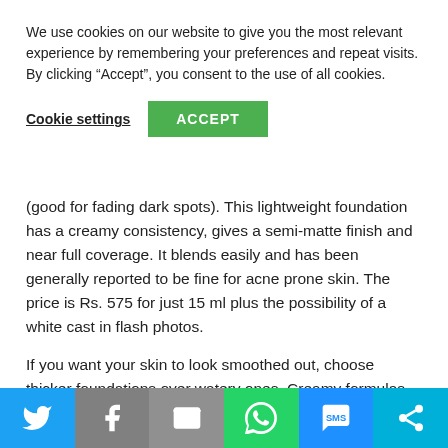We use cookies on our website to give you the most relevant experience by remembering your preferences and repeat visits. By clicking “Accept”, you consent to the use of all cookies.
Cookie settings   ACCEPT
(good for fading dark spots). This lightweight foundation has a creamy consistency, gives a semi-matte finish and near full coverage. It blends easily and has been generally reported to be fine for acne prone skin. The price is Rs. 575 for just 15 ml plus the possibility of a white cast in flash photos.
If you want your skin to look smoothed out, choose thicker foundations over watery ones. Creamy formulas plump up the skin and subdue the appearance of pitted scarring to some extent. Creamy formulas are also easier to blend than thin watery ones.
[Figure (infographic): Social sharing bar with Twitter, Facebook, Email, WhatsApp, SMS, and More buttons]